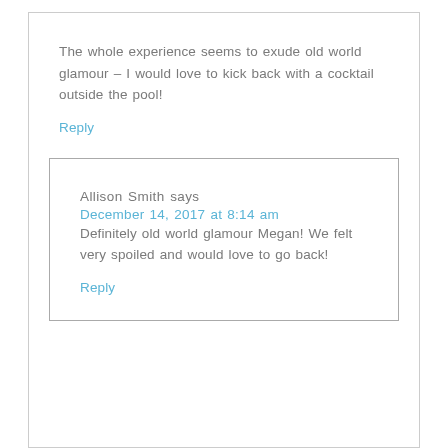The whole experience seems to exude old world glamour – I would love to kick back with a cocktail outside the pool!
Reply
Allison Smith says
December 14, 2017 at 8:14 am
Definitely old world glamour Megan! We felt very spoiled and would love to go back!
Reply